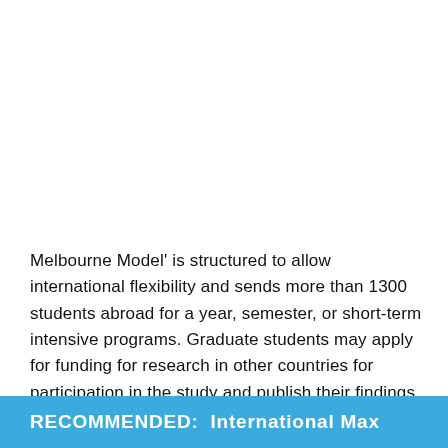Melbourne Model' is structured to allow international flexibility and sends more than 1300 students abroad for a year, semester, or short-term intensive programs. Graduate students may apply for funding for research in other countries for participation in the study and publish their findings, and collaborate with their colleagues at major conferences.
RECOMMENDED:  International Max